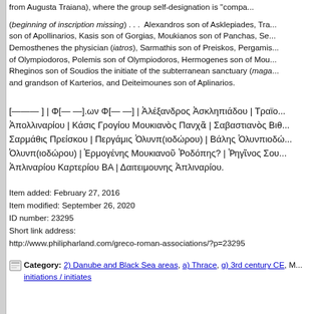from Augusta Traiana), where the group self-designation is "compa...
(beginning of inscription missing) . . .  Alexandros son of Asklepiades, Tra... son of Apollinarios, Kasis son of Gorgias, Moukianos son of Panchas, Se... Demosthenes the physician (iatros), Sarmathis son of Preiskos, Pergamis... of Olympiodoros, Polemis son of Olympiodoros, Hermogenes son of Mou... Rheginos son of Soudios the initiate of the subterranean sanctuary (maga... and grandson of Karterios, and Deiteimounes son of Aplinarios.
[——— ] | Φ[— —].ων Φ[— —] | Ἀλέξανδρος Ἀσκληπιάδου | Τραϊο... Ἀπολλιναρίου | Κάσις Γρογίου Μουκιανὸς Πανχᾶ | Σαβαστιανὸς Βιθ... Σαρμάθις Πρείσκου | Περγάμις Ὀλυνπ(ιοδώρου) | Βάλης Ὀλυνπιοδώ... Ὀλυνπ(ιοδώρου) | Ἑρμογένης Μουκιανοῦ Ῥοδόπης? | Ῥηγῖνος Σου... Ἀπλιναρίου Καρτερίου ΒΑ | Δαιτειμουνης Ἀπλιναρίου.
Item added: February 27, 2016
Item modified: September 26, 2020
ID number: 23295
Short link address:
http://www.philipharland.com/greco-roman-associations/?p=23295
Category: 2) Danube and Black Sea areas, a) Thrace, g) 3rd century CE, M... initiations / initiates